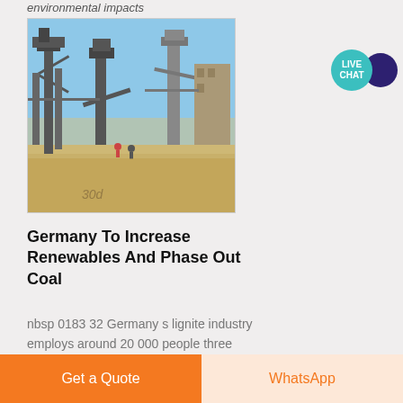environmental impacts
[Figure (photo): Industrial construction site with steel scaffolding structures, cranes, and concrete pillars under a clear blue sky, with sandy ground and workers visible]
Germany To Increase Renewables And Phase Out Coal
nbsp 0183 32 Germany s lignite industry employs around 20 000 people three quarters of which are pit workers and the
[Figure (other): Live Chat widget — teal speech bubble with 'LIVE CHAT' text and dark navy circle bubble icon]
Get a Quote
WhatsApp